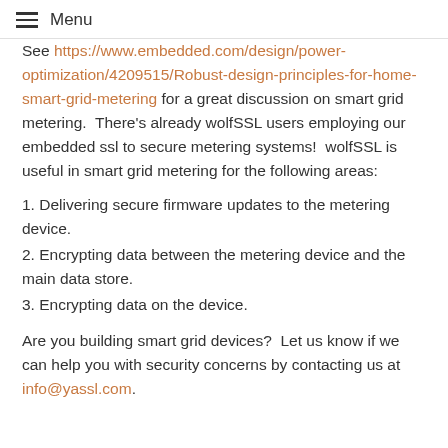Menu
See https://www.embedded.com/design/power-optimization/4209515/Robust-design-principles-for-home-smart-grid-metering for a great discussion on smart grid metering.  There's already wolfSSL users employing our embedded ssl to secure metering systems!  wolfSSL is useful in smart grid metering for the following areas:
1. Delivering secure firmware updates to the metering device.
2. Encrypting data between the metering device and the main data store.
3. Encrypting data on the device.
Are you building smart grid devices?  Let us know if we can help you with security concerns by contacting us at info@yassl.com.